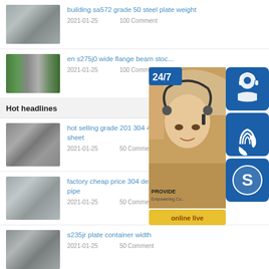building sa572 grade 50 steel plate weight
2021-01-25    100 Comment
en s275j0 wide flange beam stock
2021-01-25    100 Comment
Hot headlines
hot selling grade 201 304 410 43... sheet
2021-01-25    50 Comment
[Figure (infographic): Customer service widget overlay showing a 24/7 badge, a woman with headset, icons for chat/phone/skype, and an 'online live' button. Text: PROVIDE, Empowering Cu...]
factory cheap price 304 decoration stainless steel pipe
2021-01-25    50 Comment
s235jr plate container width
2021-01-25    50 Comment